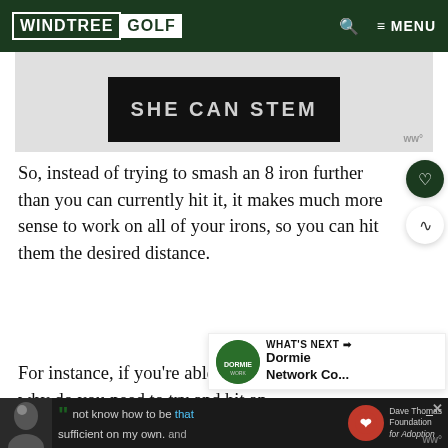WINDTREE GOLF
[Figure (illustration): Advertisement banner showing 'SHE CAN STEM' text on dark background with logo watermark]
So, instead of trying to smash an 8 iron further than you can currently hit it, it makes much more sense to work on all of your irons, so you can hit them the desired distance.
For instance, if you’re able to hit you... 150 yards, why do you need to try and hit an
[Figure (illustration): Bottom advertisement banner with person photo and 'not know how to be sufficient on my own.' quote, Dave Thomas Foundation for Adoption logo]
ww°